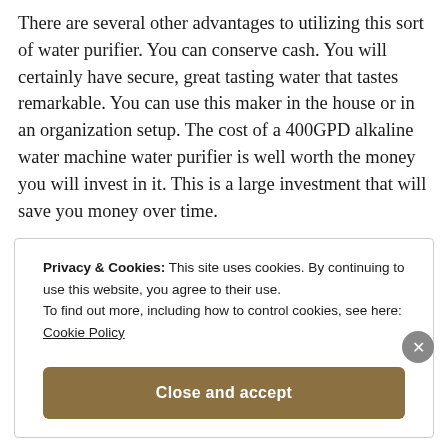There are several other advantages to utilizing this sort of water purifier. You can conserve cash. You will certainly have secure, great tasting water that tastes remarkable. You can use this maker in the house or in an organization setup. The cost of a 400GPD alkaline water machine water purifier is well worth the money you will invest in it. This is a large investment that will save you money over time.
Privacy & Cookies: This site uses cookies. By continuing to use this website, you agree to their use.
To find out more, including how to control cookies, see here:
Cookie Policy
Close and accept